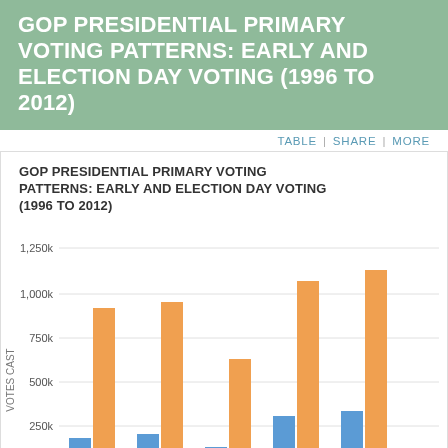GOP PRESIDENTIAL PRIMARY VOTING PATTERNS: EARLY AND ELECTION DAY VOTING (1996 TO 2012)
[Figure (grouped-bar-chart): GOP PRESIDENTIAL PRIMARY VOTING PATTERNS: EARLY AND ELECTION DAY VOTING (1996 TO 2012)]